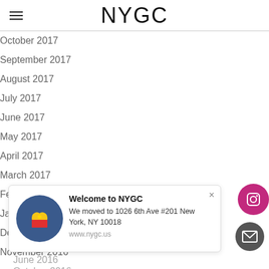NYGC
October 2017
September 2017
August 2017
July 2017
June 2017
May 2017
April 2017
March 2017
February 2017
January 2017
December 2016
November 2016
Welcome to NYGC
We moved to 1026 6th Ave #201 New York, NY 10018
www.nygc.us